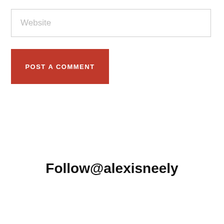Website
POST A COMMENT
Follow@alexisneely